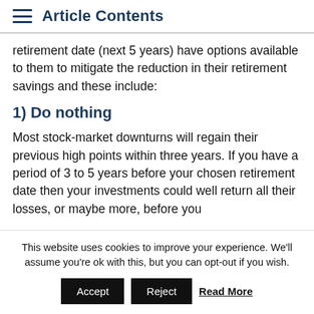Article Contents
retirement date (next 5 years) have options available to them to mitigate the reduction in their retirement savings and these include:
1) Do nothing
Most stock-market downturns will regain their previous high points within three years. If you have a period of 3 to 5 years before your chosen retirement date then your investments could well return all their losses, or maybe more, before you
This website uses cookies to improve your experience. We'll assume you're ok with this, but you can opt-out if you wish.